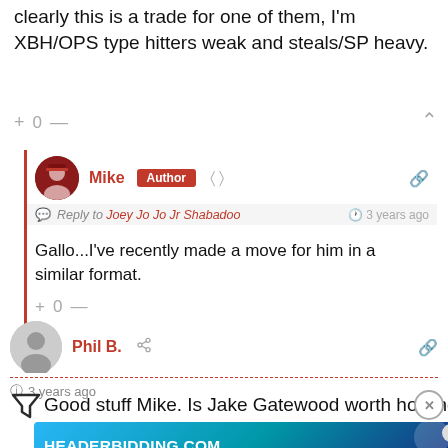clearly this is a trade for one of them, I'm XBH/OPS type hitters weak and steals/SP heavy.
+ 0 —
Mike  Author  Reply to Joey Jo Jo Jr Shabadoo  3 years ago
Gallo...I've recently made a move for him in a similar format.
+ 0 —
Phil B.  3 years ago
Good stuff Mike. Is Jake Gatewood worth holding in a Dynast...